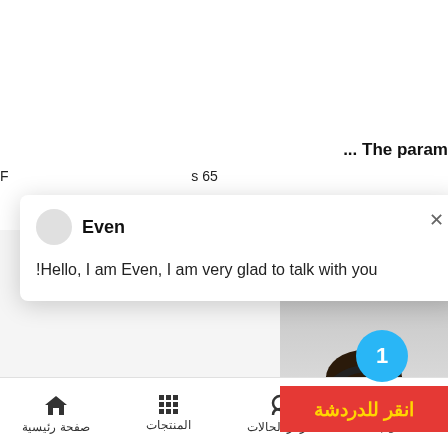... The param
F... s 65
[Figure (screenshot): Chat popup overlay with agent name 'Even' and message: !Hello, I am Even, I am very glad to talk with you. Has a close (×) button in top right corner.]
[Figure (photo): Customer service representative wearing headset with notification badge showing number 1]
انقر للدردشة
صفحة رئيسية | المنتجات | مركز الحالات | اتصل بنا